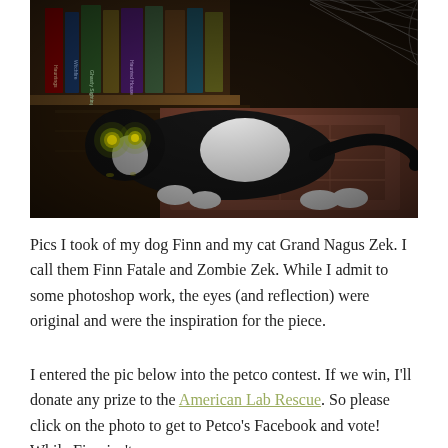[Figure (photo): A black and white cat (Grand Nagus Zek) lying on a patterned rug near a bookshelf. The cat has glowing yellow-green eyes with a spooky effect. Cobwebs visible in upper right corner. Dark atmospheric photo.]
Pics I took of my dog Finn and my cat Grand Nagus Zek. I call them Finn Fatale and Zombie Zek. While I admit to some photoshop work, the eyes (and reflection) were original and were the inspiration for the piece.
I entered the pic below into the petco contest. If we win, I'll donate any prize to the American Lab Rescue. So please click on the photo to get to Petco's Facebook and vote! While Finn isn't a